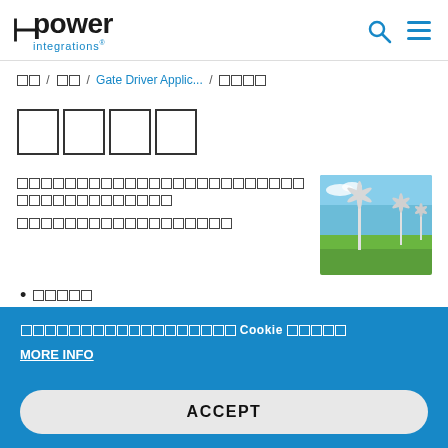Power Integrations logo with search and menu icons
홈 / 응용 / Gate Driver Applic... / 풍력발전
풍력발전
박스 문자로 표시된 일본어/한국어 텍스트 단락
[Figure (photo): Wind turbines in a green field under a blue sky]
박스 문자 리스트 아이템
박스 문자로 표시된 Cookie 관련 텍스트
MORE INFO
ACCEPT